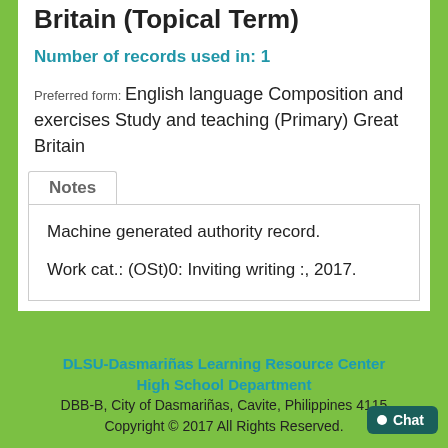Britain (Topical Term)
Number of records used in: 1
Preferred form: English language Composition and exercises Study and teaching (Primary) Great Britain
Notes
Machine generated authority record.
Work cat.: (OSt)0: Inviting writing :, 2017.
DLSU-Dasmariñas Learning Resource Center High School Department
DBB-B, City of Dasmariñas, Cavite, Philippines 4115
Copyright © 2017 All Rights Reserved.